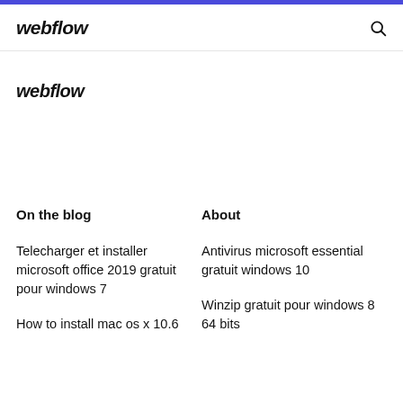webflow
webflow
On the blog
About
Telecharger et installer microsoft office 2019 gratuit pour windows 7
Antivirus microsoft essential gratuit windows 10
How to install mac os x 10.6
Winzip gratuit pour windows 8 64 bits